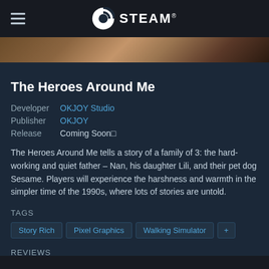STEAM
[Figure (screenshot): Game banner image showing a dark, warm-toned scene]
The Heroes Around Me
Developer  OKJOY Studio
Publisher  OKJOY
Release    Coming Soon□
The Heroes Around Me tells a story of a family of 3: the hard-working and quiet father – Nan, his daughter Lili, and their pet dog Sesame. Players will experience the harshness and warmth in the simpler time of the 1990s, where lots of stories are untold.
TAGS
Story Rich
Pixel Graphics
Walking Simulator
+
REVIEWS
No user reviews